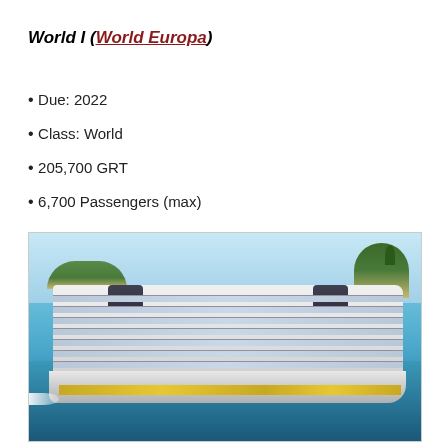World I (World Europa)
Due: 2022
Class: World
205,700 GRT
6,700 Passengers (max)
[Figure (photo): Aerial/side-view rendering of MSC World Europa cruise ship sailing on calm blue water with tropical islands in background]